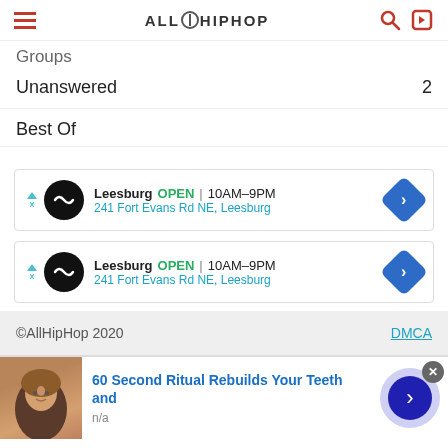ALLHIPHOP
Groups
Unanswered  2
Best Of
[Figure (screenshot): Advertisement: Leesburg OPEN 10AM-9PM, 241 Fort Evans Rd NE, Leesburg (first ad)]
[Figure (screenshot): Advertisement: Leesburg OPEN 10AM-9PM, 241 Fort Evans Rd NE, Leesburg (second ad)]
©AllHipHop 2020  DMCA
[Figure (screenshot): Bottom ad banner: 60 Second Ritual Rebuilds Your Teeth and, n/a]